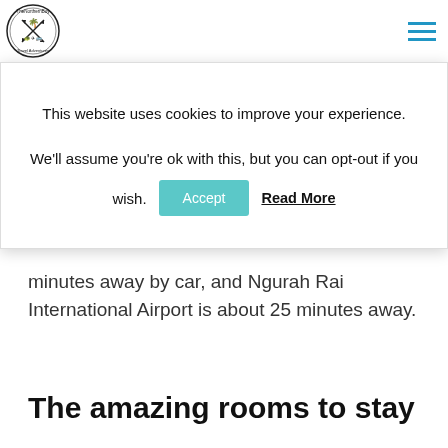TheNorthernBoy Travel Adventures — navigation header with logo and hamburger menu
on a sandy beach; the famous Ku De Ta beach just down the beach, and Potato Head is a 10-minute walk in the opposite direction. Hundreds of restaurants and shops can be found
This website uses cookies to improve your experience.

We'll assume you're ok with this, but you can opt-out if you wish.
minutes away by car, and Ngurah Rai International Airport is about 25 minutes away.
The amazing rooms to stay